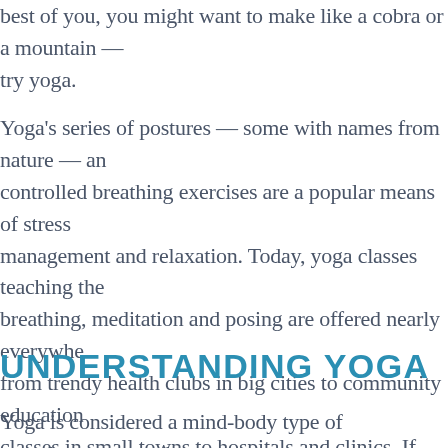best of you, you might want to make like a cobra or a mountain — try yoga.
Yoga's series of postures — some with names from nature — and controlled breathing exercises are a popular means of stress management and relaxation. Today, yoga classes teaching the breathing, meditation and posing are offered nearly everywhere, from trendy health clubs in big cities to community education classes in small towns to hospitals and clinics. If you're looking for more do-it-yourself techniques for stress reduction, see how to get started with yoga.
UNDERSTANDING YOGA
Yoga is considered a mind-body type of complementary and